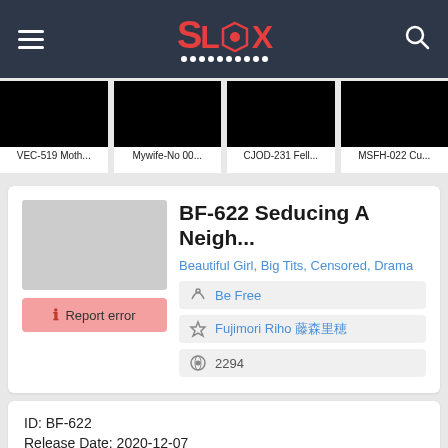SLX (logo header with hamburger menu and search)
[Figure (screenshot): Four thumbnail images (black rectangles) with labels: VEC-519 Moth..., Mywife-No 00..., CJOD-231 Fell..., MSFH-022 Cu...]
BF-622 Seducing A Neigh...
Beautiful Girl, Big Tits, Censored, Drama
Be Free
Fujimori Riho 藤森里穂
2294
ID: BF-622
Release Date: 2020-12-07